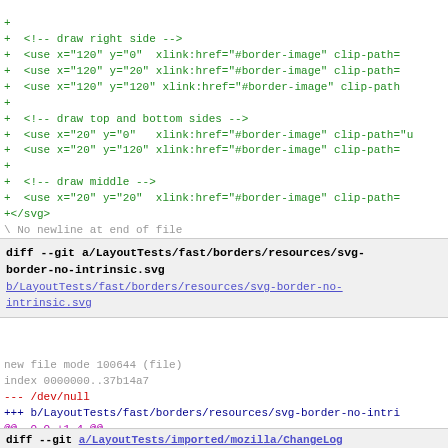diff code block showing SVG border drawing code additions
diff --git a/LayoutTests/fast/borders/resources/svg-border-no-intrinsic.svg b/LayoutTests/fast/borders/resources/svg-border-no-intrinsic.svg
new file mode 100644 (file)
index 0000000..37b14a7
--- /dev/null
+++ b/LayoutTests/fast/borders/resources/svg-border-no-intri
@@ -0,0 +1,4 @@
+<svg xmlns="http://www.w3.org/2000/svg" version="1.1">
+  <rect width="100" height="100" fill="lime"/>
+  <rect x="10" y="10" width="80" height="80" fill="none" st
+</svg>
\ No newline at end of file
diff --git a/LayoutTests/imported/mozilla/ChangeLog b/LayoutTests/imported/mozilla/ChangeLog